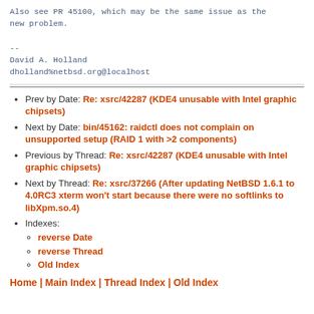Also see PR 45100, which may be the same issue as the new problem.

--
David A. Holland
dholland%netbsd.org@localhost
Prev by Date: Re: xsrc/42287 (KDE4 unusable with Intel graphic chipsets)
Next by Date: bin/45162: raidctl does not complain on unsupported setup (RAID 1 with >2 components)
Previous by Thread: Re: xsrc/42287 (KDE4 unusable with Intel graphic chipsets)
Next by Thread: Re: xsrc/37266 (After updating NetBSD 1.6.1 to 4.0RC3 xterm won't start because there were no softlinks to libXpm.so.4)
Indexes: reverse Date, reverse Thread, Old Index
Home | Main Index | Thread Index | Old Index